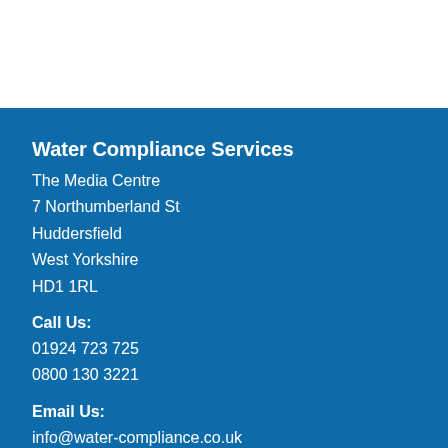Water Compliance Services
The Media Centre
7 Northumberland St
Huddersfield
West Yorkshire
HD1 1RL
Call Us:
01924 723 725
0800 130 3221
Email Us:
info@water-compliance.co.uk
[Figure (other): Social media icons: Facebook, Twitter, LinkedIn, Google+]